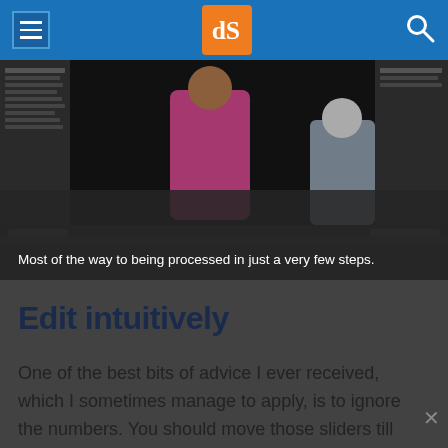dPS (Digital Photography School) navigation header with menu, logo, and search icons
[Figure (screenshot): Screenshot of photo editing software showing a child in a pink dress being processed, with dark overlay caption area]
Most of the way to being processed in just a very few steps.
Edit intuitively
One of the best bits of advice I ever received, which I sometimes manage to apply, is to ignore the numbers. You should move those sliders till